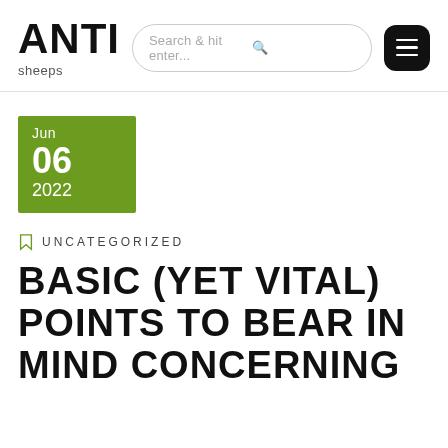ANTI sheeps
Search & hit enter...
[Figure (other): Hamburger menu button icon]
[Figure (other): Date badge: Jun 06 2022]
UNCATEGORIZED
BASIC (YET VITAL) POINTS TO BEAR IN MIND CONCERNING